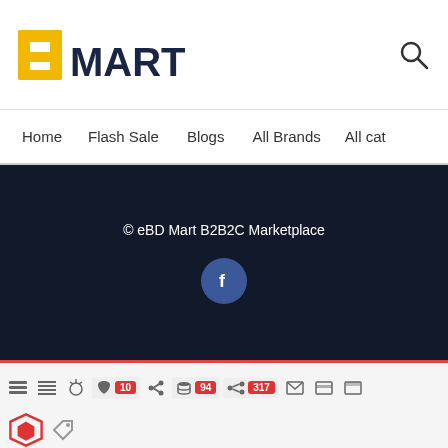[Figure (logo): eBD Mart logo with stylized yellow/dark B shape and MART text in dark navy]
Home  Flash Sale  Blogs  All Brands  All cat
[Figure (screenshot): Dark navy footer section with copyright text and Facebook icon button]
© eBD Mart B2B2C Marketplace
[Figure (screenshot): Debug toolbar with icons and badges: 10, 94, 317]
11MB  802ms  7.4.30
GET category/{category_slug}